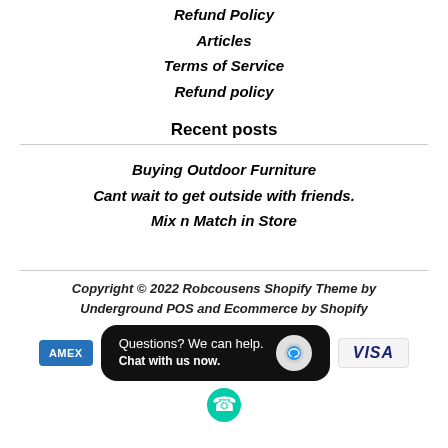Refund Policy
Articles
Terms of Service
Refund policy
Recent posts
Buying Outdoor Furniture
Cant wait to get outside with friends.
Mix n Match in Store
Copyright © 2022 Robcousens Shopify Theme by Underground POS and Ecommerce by Shopify
[Figure (other): Payment method icons: Amex and Visa. Chat popup overlay with text 'Questions? We can help. Chat with us now.' and a chat bubble icon. Phone icon at bottom.]